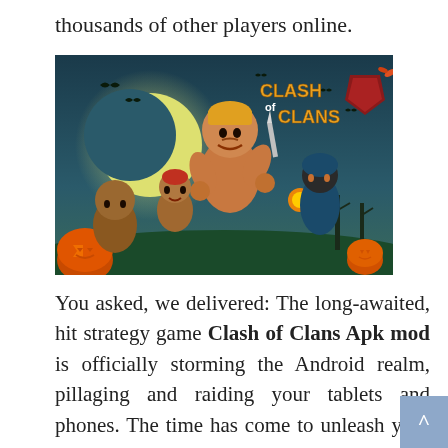thousands of other players online.
[Figure (illustration): Clash of Clans game promotional image showing cartoon barbarian warriors running in a Halloween-themed night scene with jack-o-lanterns, bats, and the Clash of Clans logo in the top right corner.]
You asked, we delivered: The long-awaited, hit strategy game Clash of Clans Apk mod is officially storming the Android realm, pillaging and raiding your tablets and phones. The time has come to unleash your inner barbarian. Get